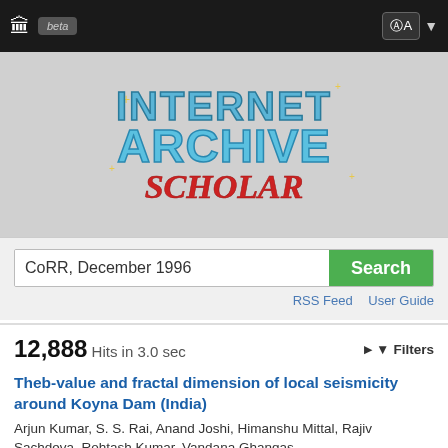Internet Archive Scholar (beta)
[Figure (logo): Internet Archive Scholar logo with stylized blue metallic lettering for INTERNET ARCHIVE and red script lettering for SCHOLAR on grey background]
CoRR, December 1996
Search
RSS Feed   User Guide
12,888 Hits in 3.0 sec
Filters
Theb-value and fractal dimension of local seismicity around Koyna Dam (India)
Arjun Kumar, S. S. Rai, Anand Joshi, Himanshu Mittal, Rajiv Sachdeva, Rohtash Kumar, Vandana Ghangas
2013 Earthquake Science
The b value is calculated using the Gutenberg-Richter relationship